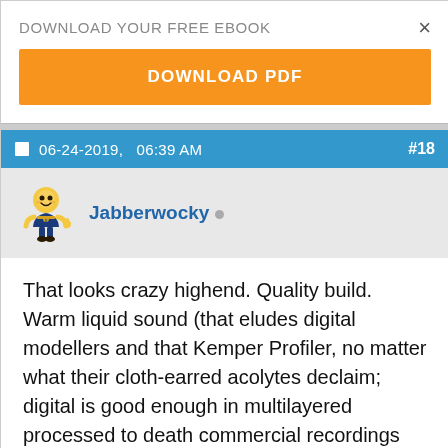DOWNLOAD YOUR FREE EBOOK
DOWNLOAD PDF
06-24-2019,   06:39 AM
#18
Jabberwocky
That looks crazy highend. Quality build. Warm liquid sound (that eludes digital modellers and that Kemper Profiler, no matter what their cloth-earred acolytes declaim; digital is good enough in multilayered processed to death commercial recordings where the average guy hears MP3 as hifi...yeah, hearing it on Youtube I know but the source is good analogue material; I digress) from